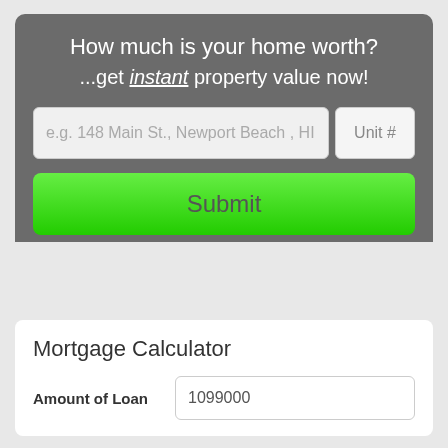How much is your home worth?
...get instant property value now!
[Figure (screenshot): Address input field with placeholder text 'e.g. 148 Main St., Newport Beach , HI' and a Unit # field]
Submit
Mortgage Calculator
Amount of Loan    1099000